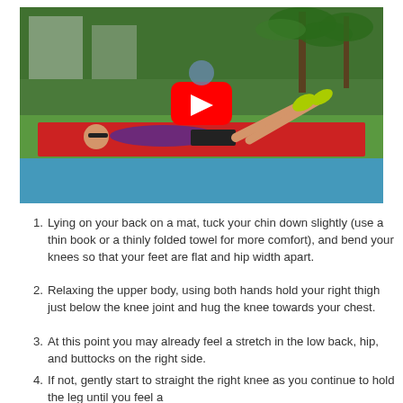[Figure (photo): Video thumbnail showing a person lying on a red mat outdoors on grass, with palm trees in background. A YouTube play button overlay is visible in the center.]
Lying on your back on a mat, tuck your chin down slightly (use a thin book or a thinly folded towel for more comfort), and bend your knees so that your feet are flat and hip width apart.
Relaxing the upper body, using both hands hold your right thigh just below the knee joint and hug the knee towards your chest.
At this point you may already feel a stretch in the low back, hip, and buttocks on the right side.
If not, gently start to straight the right knee as you continue to hold the leg until you feel a